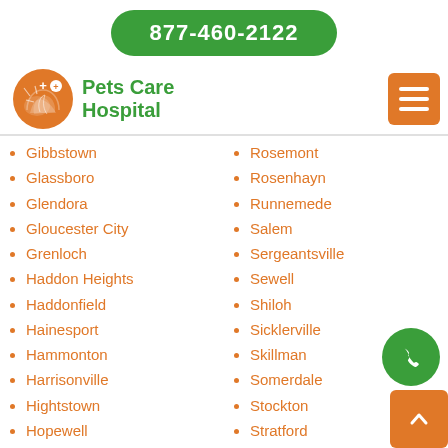877-460-2122
[Figure (logo): Pets Care Hospital logo with orange circle containing a cat/dog silhouette and plus sign, with green text 'Pets Care Hospital']
Gibbstown
Glassboro
Glendora
Gloucester City
Grenloch
Haddon Heights
Haddonfield
Hainesport
Hammonton
Harrisonville
Hightstown
Hopewell
Imlaystown
Rosemont
Rosenhayn
Runnemede
Salem
Sergeantsville
Sewell
Shiloh
Sicklerville
Skillman
Somerdale
Stockton
Stratford
Swedesboro